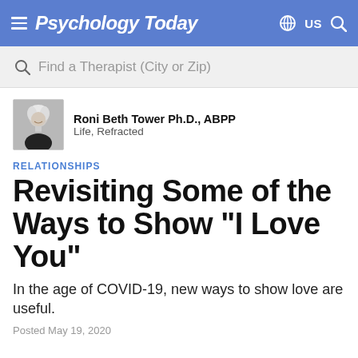Psychology Today
Find a Therapist (City or Zip)
Roni Beth Tower Ph.D., ABPP
Life, Refracted
RELATIONSHIPS
Revisiting Some of the Ways to Show "I Love You"
In the age of COVID-19, new ways to show love are useful.
Posted May 19, 2020